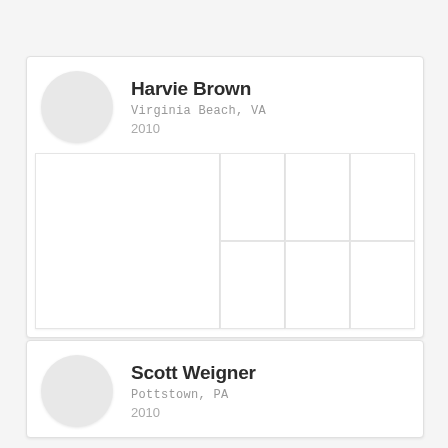[Figure (screenshot): Profile card for Harvie Brown showing avatar circle, name, location Virginia Beach VA, year 2010, and a photo grid with 7 image placeholders]
[Figure (screenshot): Profile card for Scott Weigner showing avatar circle, name, location Pottstown PA, year 2010]